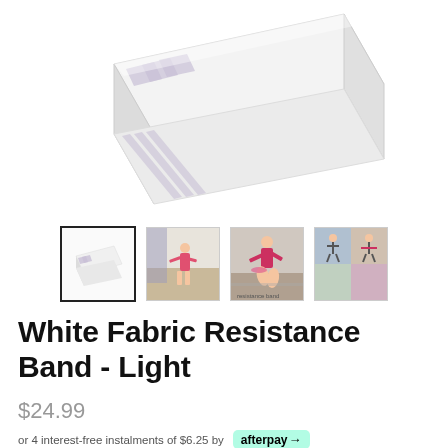[Figure (photo): White fabric resistance band folded, with purple/gray stripes, viewed from an angle on white background]
[Figure (photo): Four product thumbnail images: first selected showing the white band, second showing a woman exercising indoors, third showing a woman doing a workout with a pink band, fourth showing a collection of people exercising]
White Fabric Resistance Band - Light
$24.99
or 4 interest-free instalments of $6.25 by afterpay